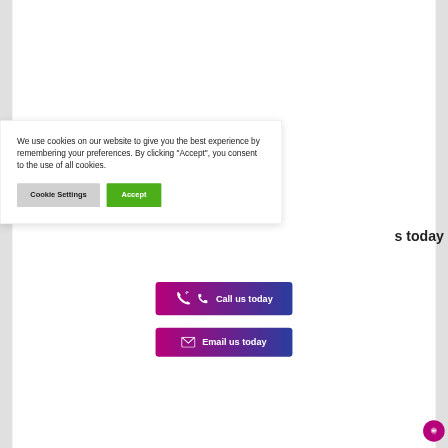We use cookies on our website to give you the best experience by remembering your preferences. By clicking “Accept”, you consent to the use of all cookies.
[Figure (screenshot): Cookie consent modal with Cookie Settings (gray button) and Accept (green button)]
s today
[Figure (infographic): Call us today button with phone icon, gradient from pink to dark blue]
[Figure (infographic): Email us today button with envelope icon, gradient from pink to dark blue]
[Figure (other): Pink circular chat bubble icon in bottom right corner]